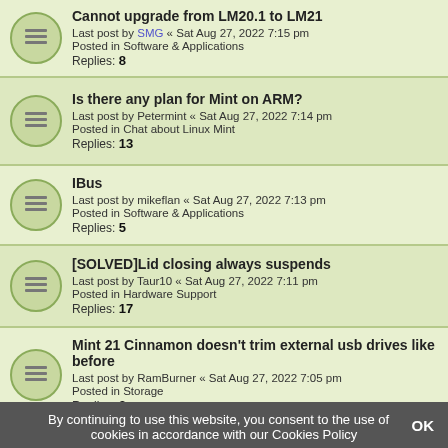Cannot upgrade from LM20.1 to LM21
Last post by SMG « Sat Aug 27, 2022 7:15 pm
Posted in Software & Applications
Replies: 8
Is there any plan for Mint on ARM?
Last post by Petermint « Sat Aug 27, 2022 7:14 pm
Posted in Chat about Linux Mint
Replies: 13
IBus
Last post by mikeflan « Sat Aug 27, 2022 7:13 pm
Posted in Software & Applications
Replies: 5
[SOLVED]Lid closing always suspends
Last post by Taur10 « Sat Aug 27, 2022 7:11 pm
Posted in Hardware Support
Replies: 17
Mint 21 Cinnamon doesn't trim external usb drives like before
Last post by RamBurner « Sat Aug 27, 2022 7:05 pm
Posted in Storage
Replies: 3
Dell laptop freezes up completely upon suspend, sometimes
Last post by SMG « Sat Aug 27, 2022 6:58 pm
Posted in Hardware Support
Replies: 3
Freeze and restart 5 seconds after boot - Boot Loop
Last post by SMG « Sat Aug 27, 2022 6:51 pm
Posted in Installation & Boot
By continuing to use this website, you consent to the use of cookies in accordance with our Cookies Policy
OK